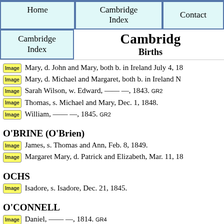Home | Cambridge Index | Contact
Cambridge Births
Mary, d. John and Mary, both b. in Ireland July 4, 1[...]
Mary, d. Michael and Margaret, both b. in Ireland N[...]
Sarah Wilson, w. Edward, —— —, 1843. GR2
Thomas, s. Michael and Mary, Dec. 1, 1848.
William, —— —, 1845. GR2
O'BRINE (O'Brien)
James, s. Thomas and Ann, Feb. 8, 1849.
Margaret Mary, d. Patrick and Elizabeth, Mar. 11, 1[...]
OCHS
Isadore, s. Isadore, Dec. 21, 1845.
O'CONNELL
Daniel, —— —, 1814. GR4